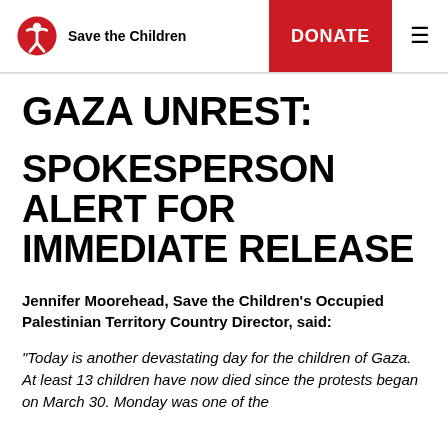Save the Children | DONATE
GAZA UNREST:
SPOKESPERSON ALERT FOR IMMEDIATE RELEASE
Jennifer Moorehead, Save the Children's Occupied Palestinian Territory Country Director, said:
"Today is another devastating day for the children of Gaza. At least 13 children have now died since the protests began on March 30. Monday was one of the